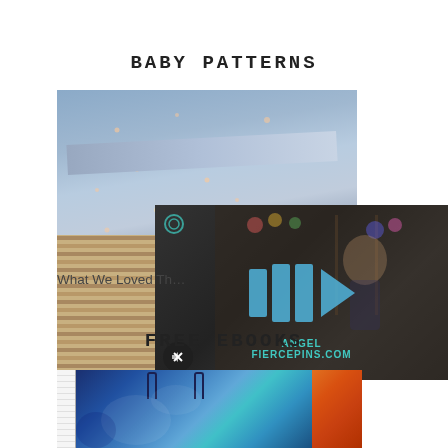BABY PATTERNS
[Figure (photo): Folded blue star-print fabric/blanket stacked on top of woven tan/beige textured fabric or basket]
[Figure (screenshot): Video overlay showing a woman in a craft/sewing room with colorful supplies on shelves. Blue play icon (triple bars and arrow) in center. Mute icon button at bottom-left. Branding text 'Angel FiercePins.com' at bottom center.]
What We Loved Th…
FREE EBOOKS
[Figure (photo): Bottom strip showing: a ruler on the left edge, a colorful tote bag with blue/teal swirled pattern and dark handles in center, and a partial orange image on the right]